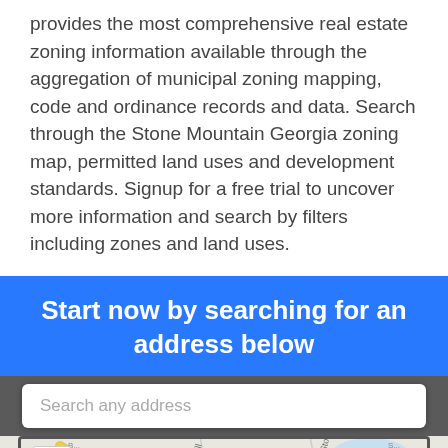provides the most comprehensive real estate zoning information available through the aggregation of municipal zoning mapping, code and ordinance records and data. Search through the Stone Mountain Georgia zoning map, permitted land uses and development standards. Signup for a free trial to uncover more information and search by filters including zones and land uses.
Start now by searching for an address below
[Figure (screenshot): Interactive map with a search bar overlay showing 'Search any address' placeholder text, map of Stone Mountain Georgia area with roads including Silver Hill and Lilburn Stone roads, zoom controls (+/-) on the left side.]